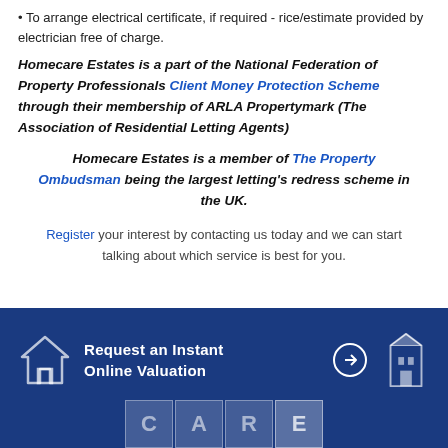• To arrange electrical certificate, if required - rice/estimate provided by electrician free of charge.
Homecare Estates is a part of the National Federation of Property Professionals Client Money Protection Scheme through their membership of ARLA Propertymark (The Association of Residential Letting Agents)
Homecare Estates is a member of The Property Ombudsman being the largest letting's redress scheme in the UK.
Register your interest by contacting us today and we can start talking about which service is best for you.
[Figure (infographic): Dark blue footer bar with house icon, text 'Request an Instant Online Valuation', arrow circle button, building icon, and CARE letter blocks at the bottom]